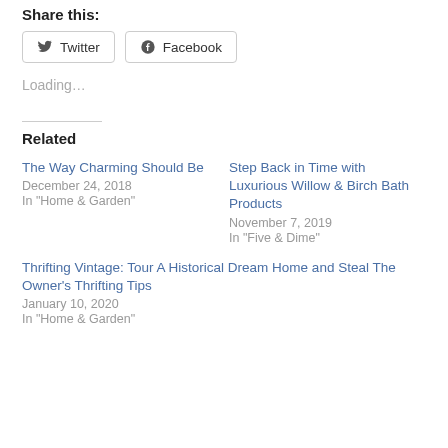Share this:
Twitter  Facebook
Loading...
Related
The Way Charming Should Be
December 24, 2018
In "Home & Garden"
Step Back in Time with Luxurious Willow & Birch Bath Products
November 7, 2019
In "Five & Dime"
Thrifting Vintage: Tour A Historical Dream Home and Steal The Owner's Thrifting Tips
January 10, 2020
In "Home & Garden"